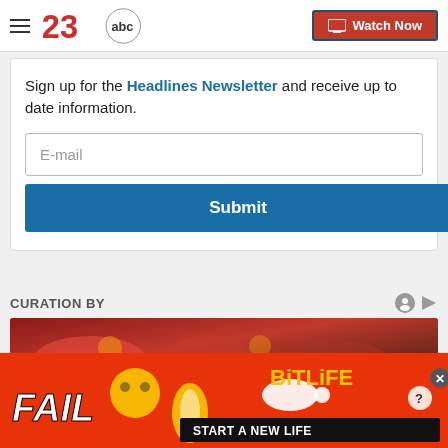23abc — Watch Now
Sign up for the Headlines Newsletter and receive up to date information.
E-mail
Submit
CURATION BY
[Figure (photo): Food image showing seafood/crawfish on a dark background]
[Figure (infographic): BitLife advertisement banner with FAIL text, cartoon character, fire emoji, and START A NEW LIFE tagline]